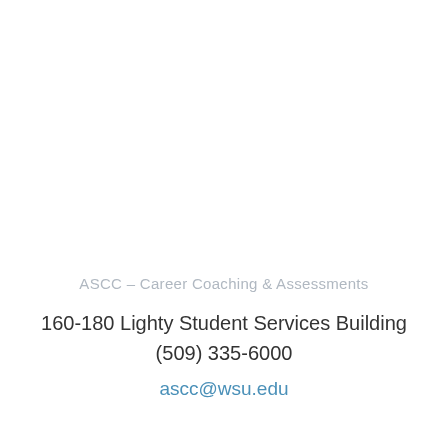ASCC – Career Coaching & Assessments
160-180 Lighty Student Services Building
(509) 335-6000
ascc@wsu.edu